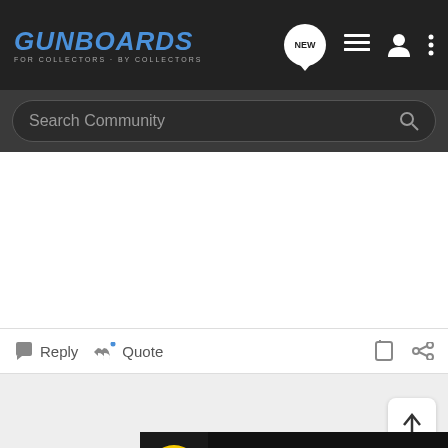GUNBOARDS - FOR COLLECTORS - BY COLLECTORS
Search Community
Reply  Quote
jimminardi · Registered
[Figure (screenshot): Bass Pro Shops ad banner: HIGHEST-RATED GEAR, rating 4.9 stars]